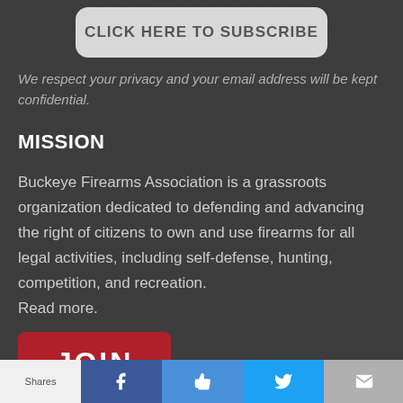[Figure (other): Subscribe button with rounded rectangle style saying CLICK HERE TO SUBSCRIBE]
We respect your privacy and your email address will be kept confidential.
MISSION
Buckeye Firearms Association is a grassroots organization dedicated to defending and advancing the right of citizens to own and use firearms for all legal activities, including self-defense, hunting, competition, and recreation. Read more.
[Figure (other): Red JOIN button]
Shares | Facebook | Like | Twitter | Mail | Crown